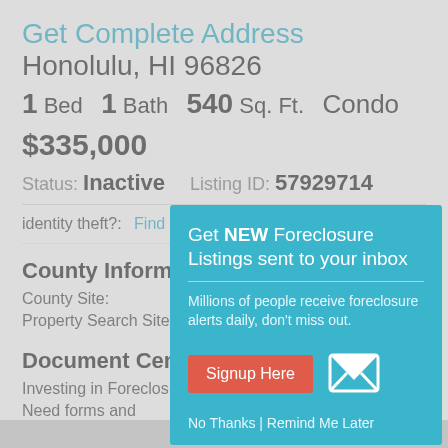Get Complete Address Honolulu, HI 96826
1 Bed  1 Bath  540 Sq. Ft.  Condo
$335,000
Status: Inactive   Listing ID: 57929714
identity theft?:  Find out
County Information
County Site:
Property Search Site:
Document Center
Investing in Foreclosures
Need forms and contracts?:  Download documents
[Figure (infographic): Modal popup overlay: 'Get NEW Foreclosure Listings sent to your inbox' with email icon, Signup Here button, and No Thanks | Remind Me Later links]